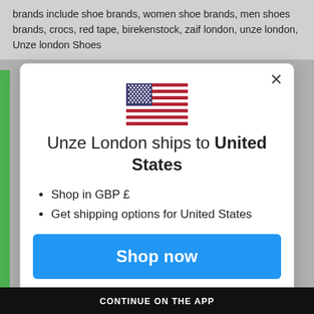brands include shoe brands, women shoe brands, men shoes brands, crocs, red tape, birekenstock, zaif london, unze london, Unze london Shoes
[Figure (illustration): US flag emoji/icon centered in modal dialog]
Unze London ships to United States
Shop in GBP £
Get shipping options for United States
Shop now
Change shipping country
CONTINUE ON THE APP